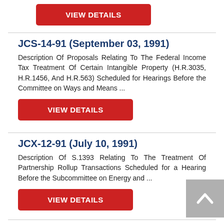VIEW DETAILS
JCS-14-91 (September 03, 1991)
Description Of Proposals Relating To The Federal Income Tax Treatment Of Certain Intangible Property (H.R.3035, H.R.1456, And H.R.563) Scheduled for Hearings Before the Committee on Ways and Means ...
VIEW DETAILS
JCX-12-91 (July 10, 1991)
Description Of S.1393 Relating To The Treatment Of Partnership Rollup Transactions Scheduled for a Hearing Before the Subcommittee on Energy and ...
VIEW DETAILS